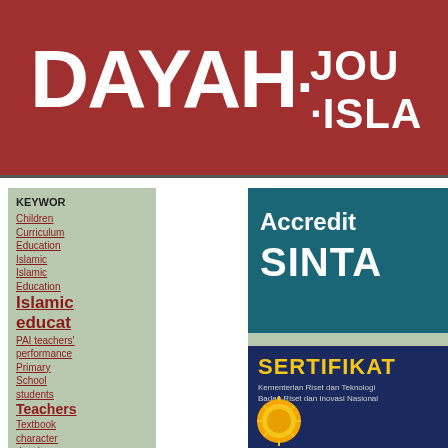DAYAH · JOUR · ISLA
KEYWORDS
Children
Curriculum
Education
Islamic
Islamic Education
Islamic education
PAI teachers' performance
Primary School
students
Teachers
Textbook
character
drawing
education
educational philosophy
learning
[Figure (logo): Accreditation panel with teal background showing 'Accredit' and 'SINTA' text in white]
[Figure (illustration): SERTIFIKAT panel with dark blue background, yellow title text, gray subtitle text about Kementerian Riset dan Teknologi / Badan Riset dan Inovasi Nasional, and a gold medal/seal icon]